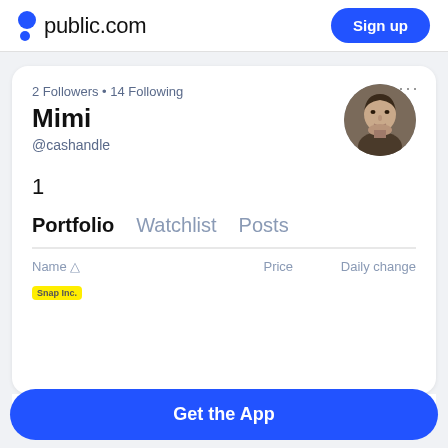public.com  Sign up
2 Followers • 14 Following
Mimi
@cashandle
1
Portfolio  Watchlist  Posts
| Name | Price | Daily change |
| --- | --- | --- |
| Snap Inc. SNAP | $11.55 | $0.91 |
Get the App